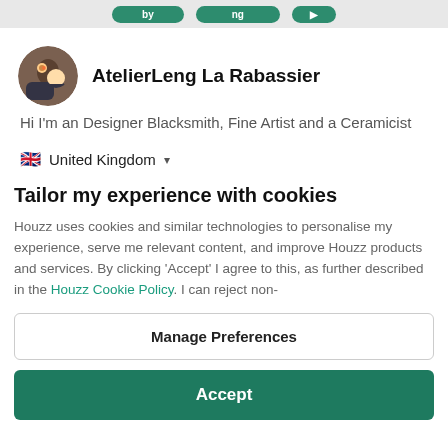[navigation buttons]
AtelierLeng La Rabassier
Hi I'm an Designer Blacksmith, Fine Artist and a Ceramicist
United Kingdom
Tailor my experience with cookies
Houzz uses cookies and similar technologies to personalise my experience, serve me relevant content, and improve Houzz products and services. By clicking 'Accept' I agree to this, as further described in the Houzz Cookie Policy. I can reject non-
Manage Preferences
Accept